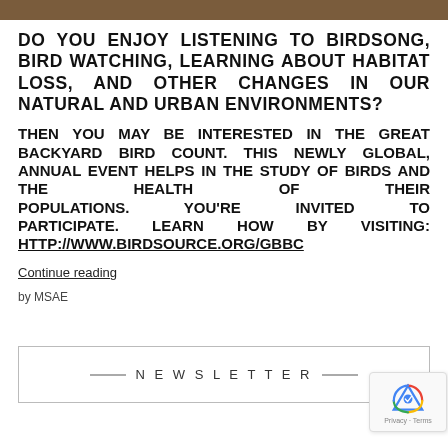DO YOU ENJOY LISTENING TO BIRDSONG, BIRD WATCHING, LEARNING ABOUT HABITAT LOSS, AND OTHER CHANGES IN OUR NATURAL AND URBAN ENVIRONMENTS?
THEN YOU MAY BE INTERESTED IN THE GREAT BACKYARD BIRD COUNT. THIS NEWLY GLOBAL, ANNUAL EVENT HELPS IN THE STUDY OF BIRDS AND THE HEALTH OF THEIR POPULATIONS. YOU'RE INVITED TO PARTICIPATE. LEARN HOW BY VISITING: HTTP://WWW.BIRDSOURCE.ORG/GBBC
Continue reading
by MSAE
NEWSLETTER